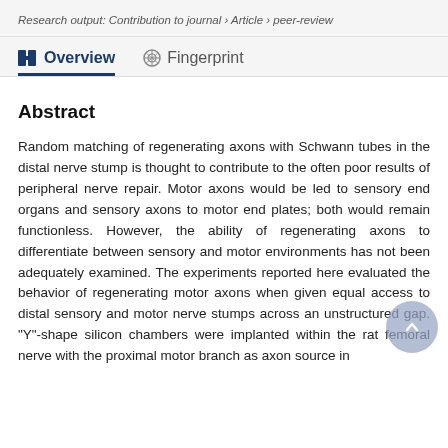Research output: Contribution to journal › Article › peer-review
Overview   Fingerprint
Abstract
Random matching of regenerating axons with Schwann tubes in the distal nerve stump is thought to contribute to the often poor results of peripheral nerve repair. Motor axons would be led to sensory end organs and sensory axons to motor end plates; both would remain functionless. However, the ability of regenerating axons to differentiate between sensory and motor environments has not been adequately examined. The experiments reported here evaluated the behavior of regenerating motor axons when given equal access to distal sensory and motor nerve stumps across an unstructured gap. "Y"-shape silicon chambers were implanted within the rat femoral nerve with the proximal motor branch as axon source in